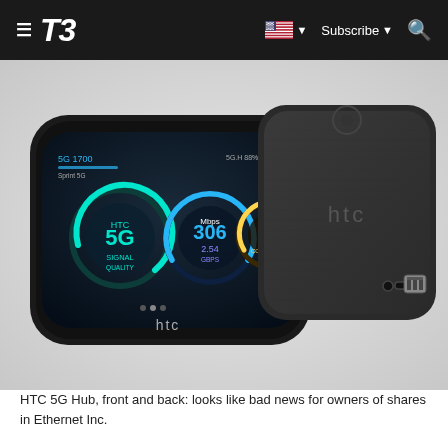T3 | Subscribe | (navigation bar with hamburger menu, US flag, Subscribe dropdown, Search)
[Figure (photo): HTC 5G Hub device shown from front and back. The front shows a rounded-corner black device with a touchscreen displaying 5G connectivity stats including speed gauges showing 5G, 306, 2.54, and 18. The back shows a dark fabric-textured square device with the HTC logo and ports including an Ethernet port, audio jack, and USB-C port.]
HTC 5G Hub, front and back: looks like bad news for owners of shares in Ethernet Inc.